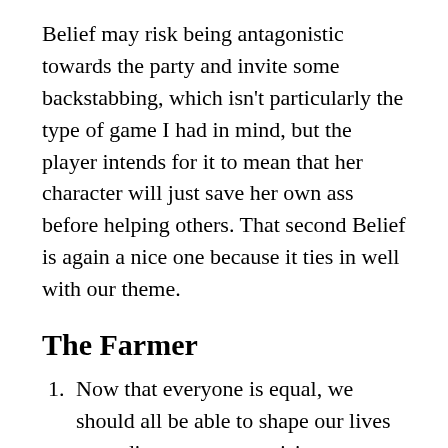Belief may risk being antagonistic towards the party and invite some backstabbing, which isn't particularly the type of game I had in mind, but the player intends for it to mean that her character will just save her own ass before helping others. That second Belief is again a nice one because it ties in well with our theme.
The Farmer
Now that everyone is equal, we should all be able to shape our lives according to our own vision.
My companions have shaped their lives according to their own vision, so they are